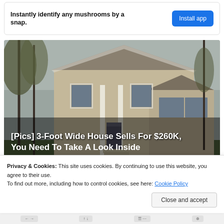[Figure (infographic): App advertisement banner: bold text 'Instantly identify any mushrooms by a snap.' with a blue 'Install app' button on the right.]
[Figure (photo): Photograph of a two-story tan/beige colonial-style house with white columns and trim, surrounded by bare trees, with bold white text overlay reading '[Pics] 3-Foot Wide House Sells For $260K, You Need To Take A Look Inside' and italic white source label 'BuzzFond'.]
Privacy & Cookies: This site uses cookies. By continuing to use this website, you agree to their use.
To find out more, including how to control cookies, see here: Cookie Policy
Close and accept